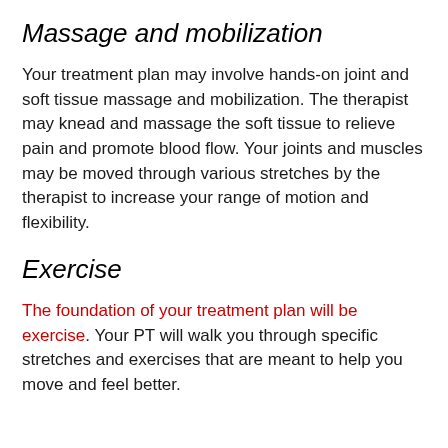Massage and mobilization
Your treatment plan may involve hands-on joint and soft tissue massage and mobilization. The therapist may knead and massage the soft tissue to relieve pain and promote blood flow. Your joints and muscles may be moved through various stretches by the therapist to increase your range of motion and flexibility.
Exercise
The foundation of your treatment plan will be exercise. Your PT will walk you through specific stretches and exercises that are meant to help you move and feel better.